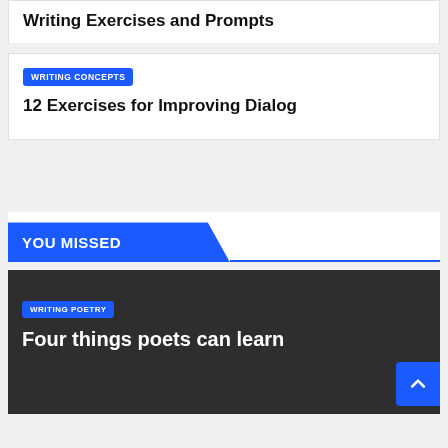Writing Exercises and Prompts
WRITING CONCEPTS
12 Exercises for Improving Dialog
YOU MISSED
WRITING POETRY
Four things poets can learn